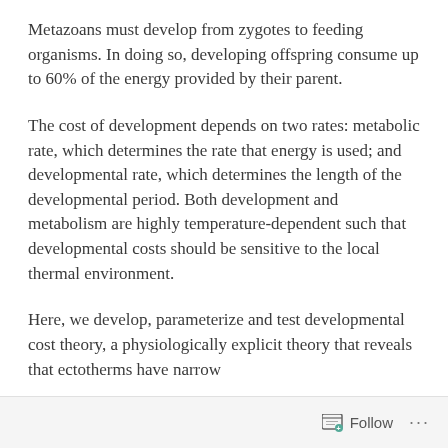Metazoans must develop from zygotes to feeding organisms. In doing so, developing offspring consume up to 60% of the energy provided by their parent.
The cost of development depends on two rates: metabolic rate, which determines the rate that energy is used; and developmental rate, which determines the length of the developmental period. Both development and metabolism are highly temperature-dependent such that developmental costs should be sensitive to the local thermal environment.
Here, we develop, parameterize and test developmental cost theory, a physiologically explicit theory that reveals that ectotherms have narrow
Follow   ...